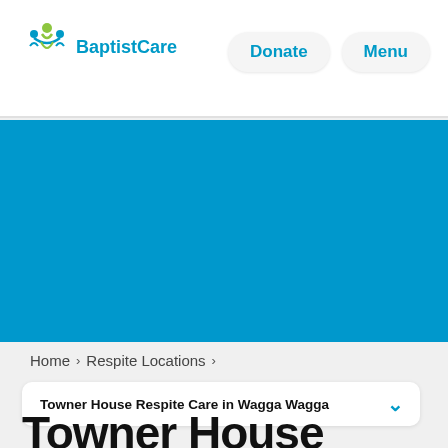[Figure (logo): BaptistCare logo with stylized people icon in teal/green above the text 'BaptistCare']
Donate
Menu
[Figure (photo): Large blue/cyan hero image area (photo content not visible, solid blue background shown)]
Home > Respite Locations >
Towner House Respite Care in Wagga Wagga
Towner House